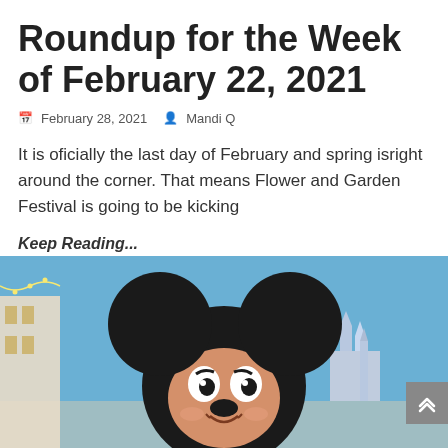Roundup for the Week of February 22, 2021
February 28, 2021   Mandi Q
It is oficially the last day of February and spring isright around the corner. That means Flower and Garden Festival is going to be kicking
Keep Reading...
[Figure (photo): Photo of Mickey Mouse character at a Disney park, with blue sky and castle in background]